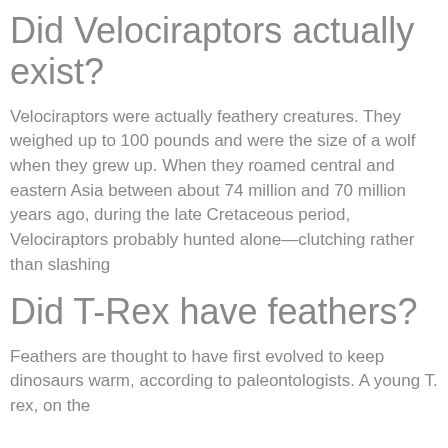Did Velociraptors actually exist?
Velociraptors were actually feathery creatures. They weighed up to 100 pounds and were the size of a wolf when they grew up. When they roamed central and eastern Asia between about 74 million and 70 million years ago, during the late Cretaceous period, Velociraptors probably hunted alone—clutching rather than slashing
Did T-Rex have feathers?
Feathers are thought to have first evolved to keep dinosaurs warm, according to paleontologists. A young T. rex, on the